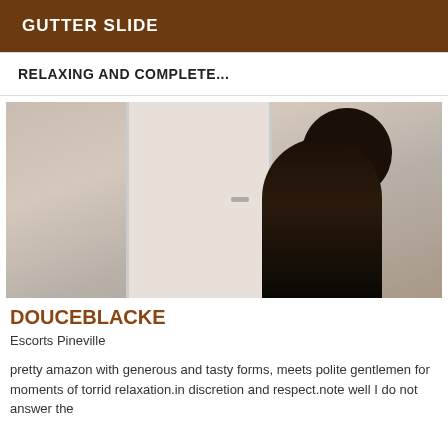GUTTER SLIDE
RELAXING AND COMPLETE...
[Figure (photo): A person posing near a white door in an indoor room.]
DOUCEBLACKE
Escorts Pineville
pretty amazon with generous and tasty forms, meets polite gentlemen for moments of torrid relaxation.in discretion and respect.note well I do not answer the